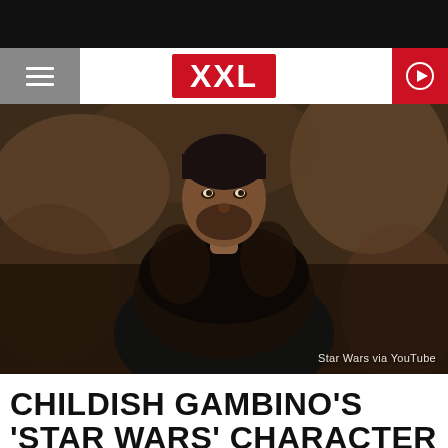XXL
[Figure (photo): Man wearing a dark fur coat standing in a dimly lit rocky environment, looking upward. Photo credit: Star Wars via YouTube]
Star Wars via YouTube
CHILDISH GAMBINO'S 'STAR WARS' CHARACTER WILL GET